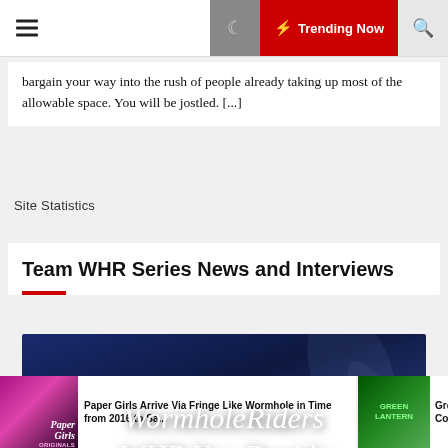Trending Now
bargain your way into the rush of people already taking up most of the allowable space. You will be jostled. [...]
Site Statistics
Team WHR Series News and Interviews
[Figure (illustration): WormholeRiders WHR You Decide banner image with italic white text on a dark blue background]
Paper Girls Arrive Via Fringe Like Wormhole in Time from 2016 to Sa...
Gre Cor